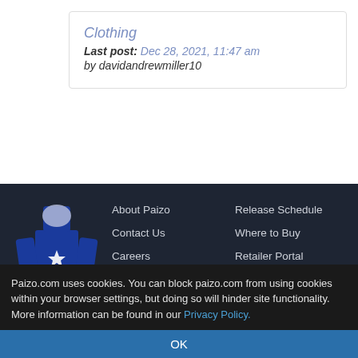Clothing
Last post: Dec 28, 2021, 11:47 am
by davidandrewmiller10
[Figure (logo): Paizo logo — stylized knight figure in blue with 'paizo' wordmark below]
About Paizo
Contact Us
Careers
Press
Release Schedule
Where to Buy
Retailer Portal
Archive
[Figure (infographic): Social media icons row: Facebook, Twitter, Twitch, Instagram, YouTube — circular grey buttons]
Paizo.com uses cookies. You can block paizo.com from using cookies within your browser settings, but doing so will hinder site functionality. More information can be found in our Privacy Policy.
OK